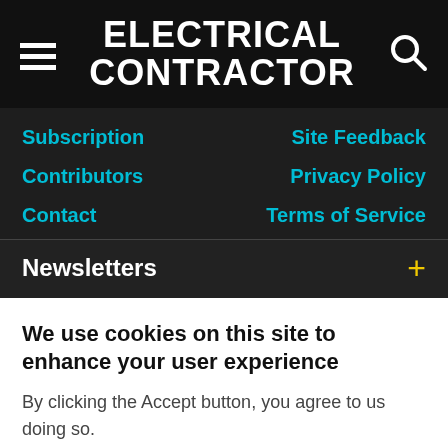ELECTRICAL CONTRACTOR
Subscription
Site Feedback
Contributors
Privacy Policy
Contact
Terms of Service
Newsletters
We use cookies on this site to enhance your user experience
By clicking the Accept button, you agree to us doing so.